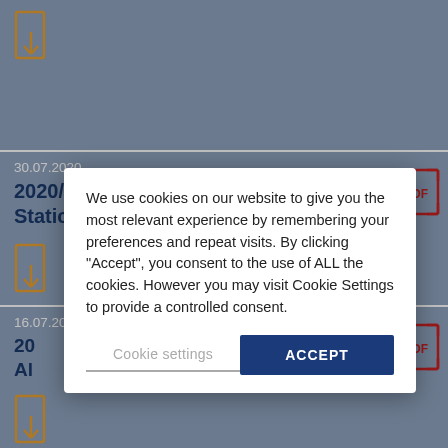[Figure (illustration): Partial cropped top entry with orange expand/download bracket icon on blue-grey background]
30.07.2020
2020/07/30 Letter of Announcement: Static IP addresses for the EU Hub
[Figure (illustration): Orange bracket expand icon on blue-grey background]
16.07.2020
20... Al...
[Figure (illustration): Orange bracket expand icon (partially visible) on blue-grey background]
10...
20... InteliSecure's IT Security Audit of the EU Hub...
We use cookies on our website to give you the most relevant experience by remembering your preferences and repeat visits. By clicking "Accept", you consent to the use of ALL the cookies. However you may visit Cookie Settings to provide a controlled consent.
Cookie settings
ACCEPT